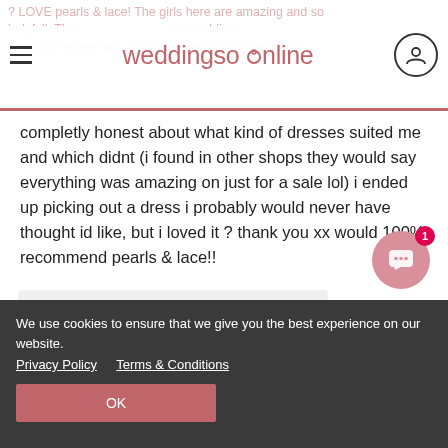weddingsonline — navigation header with hamburger menu and user icon
completly honest about what kind of dresses suited me and which didnt (i found in other shops they would say everything was amazing on just for a sale lol) i ended up picking out a dress i probably would never have thought id like, but i loved it ? thank you xx would 100% recommend pearls & lace!!
Response from Pearls and Lace Bridal Boutique
Thanks Una for your lovely c... appreciate it and really enjo... sending on your fab photos >
Dearbhaile from weddings...
Hi, I'm Dearbhaile, your totally free wedding...
We use cookies to ensure that we give you the best experience on our website.
Privacy Policy    Terms & Conditions
OK